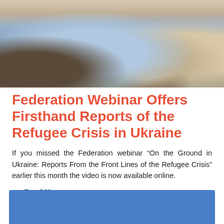[Figure (photo): Photo showing people with luggage, likely refugees, partial view of legs, bags, and clothing in outdoor setting]
Federation Webinar Offers Firsthand Reports of the Refugee Crisis in Ukraine
If you missed the Federation webinar “On the Ground in Ukraine: Reports From the Front Lines of the Refugee Crisis” earlier this month the video is now available online.
→ Read More
[Figure (photo): Blue background image, partial view at bottom of page]